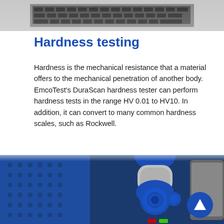[Figure (photo): Close-up photo of a laptop keyboard, partially visible at the top of the page]
Hardness testing
Hardness is the mechanical resistance that a material offers to the mechanical penetration of another body. EmcoTest's DuraScan hardness tester can perform hardness tests in the range HV 0.01 to HV10. In addition, it can convert to many common hardness scales, such as Rockwell.
[Figure (photo): Close-up photo of a blue and silver robotic arm / hardness testing machine with a blue storage unit in the background and a tablet display on the right]